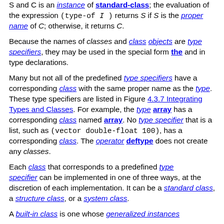S and C is an instance of standard-class; the evaluation of the expression (type-of I) returns S if S is the proper name of C; otherwise, it returns C.
Because the names of classes and class objects are type specifiers, they may be used in the special form the and in type declarations.
Many but not all of the predefined type specifiers have a corresponding class with the same proper name as the type. These type specifiers are listed in Figure 4.3.7 Integrating Types and Classes. For example, the type array has a corresponding class named array. No type specifier that is a list, such as (vector double-float 100), has a corresponding class. The operator deftype does not create any classes.
Each class that corresponds to a predefined type specifier can be implemented in one of three ways, at the discretion of each implementation. It can be a standard class, a structure class, or a system class.
A built-in class is one whose generalized instances